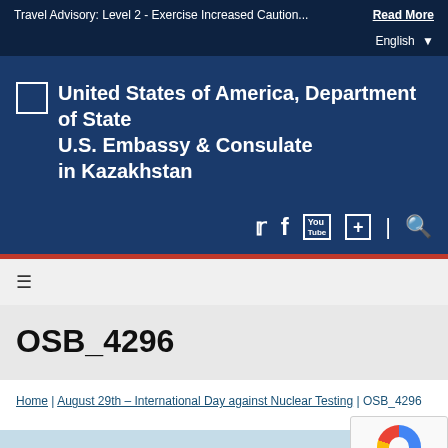Travel Advisory: Level 2 - Exercise Increased Caution... Read More
English
[Figure (logo): United States of America, Department of State seal/logo placeholder]
U.S. Embassy & Consulate in Kazakhstan
[Figure (infographic): Social media icons: Twitter, Facebook, YouTube, Google Plus, Search]
[Figure (infographic): Hamburger/menu icon]
OSB_4296
Home | August 29th – International Day against Nuclear Testing | OSB_4296
[Figure (photo): Partial image at bottom of page, appears to show flags or similar]